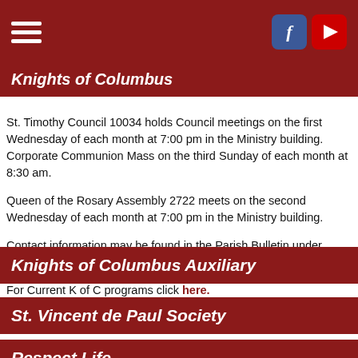Knights of Columbus
St. Timothy Council 10034 holds Council meetings on the first Wednesday of each month at 7:00 pm in the Ministry building. Corporate Communion Mass on the third Sunday of each month at 8:30 am.
Queen of the Rosary Assembly 2722 meets on the second Wednesday of each month at 7:00 pm in the Ministry building.
Contact information may be found in the Parish Bulletin under Pastoral Ministries.
For Current K of C programs click here.
Knights of Columbus Auxiliary
St. Vincent de Paul Society
Respect Life